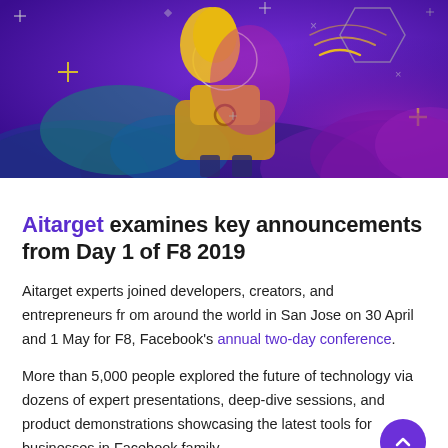[Figure (illustration): Purple-themed illustration of a stylized robot or AI character with yellow hair, geometric shapes, sound/WiFi waves, and decorative plus signs and crosses on a dark purple gradient background. Facebook F8 2019 conference artwork.]
Aitarget examines key announcements from Day 1 of F8 2019
Aitarget experts joined developers, creators, and entrepreneurs from around the world in San Jose on 30 April and 1 May for F8, Facebook's annual two-day conference.
More than 5,000 people explored the future of technology via dozens of expert presentations, deep-dive sessions, and product demonstrations showcasing the latest tools for businesses in Facebook family.